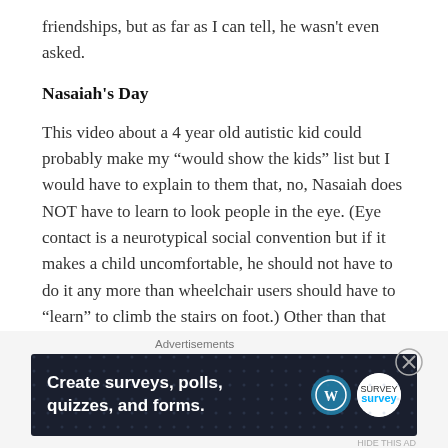friendships, but as far as I can tell, he wasn't even asked.
Nasaiah's Day
This video about a 4 year old autistic kid could probably make my “would show the kids” list but I would have to explain to them that, no, Nasaiah does NOT have to learn to look people in the eye. (Eye contact is a neurotypical social convention but if it makes a child uncomfortable, he should not have to do it any more than wheelchair users should have to “learn” to climb the stairs on foot.) Other than that this was pretty cute and I loved his singing clip with
[Figure (other): Advertisement banner: dark navy background with white bold text reading 'Create surveys, polls, quizzes, and forms.' with WordPress and SurveyMonkey logos on the right side. An X close button is visible in the upper right corner. 'Advertisements' label appears above the banner.]